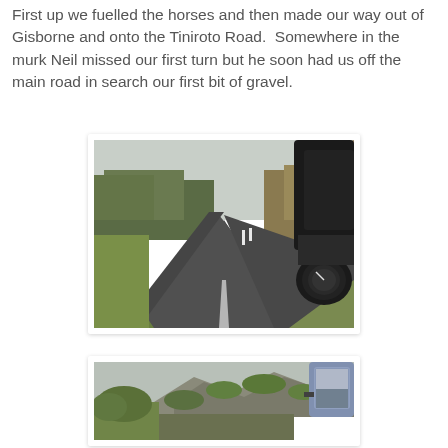First up we fuelled the horses and then made our way out of Gisborne and onto the Tiniroto Road.  Somewhere in the murk Neil missed our first turn but he soon had us off the main road in search our first bit of gravel.
[Figure (photo): Motorcycle helmet-cam view of a winding rural road with green grass verges and trees on either side, overcast sky, motorcycle instrument cluster visible on right side of frame.]
[Figure (photo): Motorcycle helmet-cam view of a rural hillside with rocky cliffs and green scrubby vegetation, overcast sky, motorcycle mirror visible on the right side of frame.]